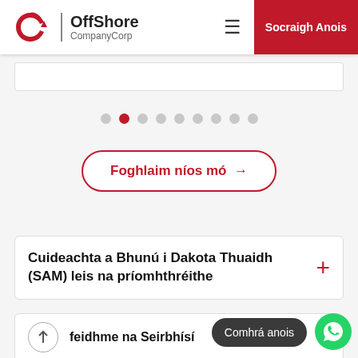OffShore CompanyCorp | Socraigh Anois
[Figure (screenshot): Partial white card at top of content area]
[Figure (infographic): Carousel pagination dots, 8 dots total with second dot highlighted in red]
Foghlaim níos mó →
Cuideachta a Bhunú i Dakota Thuaidh (SAM) leis na príomhthréithe
feidhme na Seirbhísí
Comhrá anois